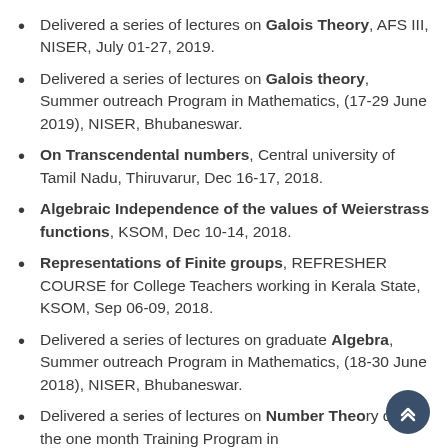Delivered a series of lectures on Galois Theory, AFS III, NISER, July 01-27, 2019.
Delivered a series of lectures on Galois theory, Summer outreach Program in Mathematics, (17-29 June 2019), NISER, Bhubaneswar.
On Transcendental numbers, Central university of Tamil Nadu, Thiruvarur, Dec 16-17, 2018.
Algebraic Independence of the values of Weierstrass functions, KSOM, Dec 10-14, 2018.
Representations of Finite groups, REFRESHER COURSE for College Teachers working in Kerala State, KSOM, Sep 06-09, 2018.
Delivered a series of lectures on graduate Algebra, Summer outreach Program in Mathematics, (18-30 June 2018), NISER, Bhubaneswar.
Delivered a series of lectures on Number Theory during the one month Training Program in